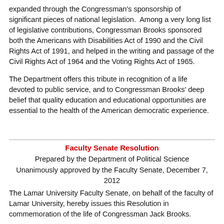expanded through the Congressman's sponsorship of significant pieces of national legislation.  Among a very long list of legislative contributions, Congressman Brooks sponsored both the Americans with Disabilities Act of 1990 and the Civil Rights Act of 1991, and helped in the writing and passage of the Civil Rights Act of 1964 and the Voting Rights Act of 1965.
The Department offers this tribute in recognition of a life devoted to public service, and to Congressman Brooks' deep belief that quality education and educational opportunities are essential to the health of the American democratic experience.
Faculty Senate Resolution
Prepared by the Department of Political Science
Unanimously approved by the Faculty Senate, December 7, 2012
The Lamar University Faculty Senate, on behalf of the faculty of Lamar University, hereby issues this Resolution in commemoration of the life of Congressman Jack Brooks.